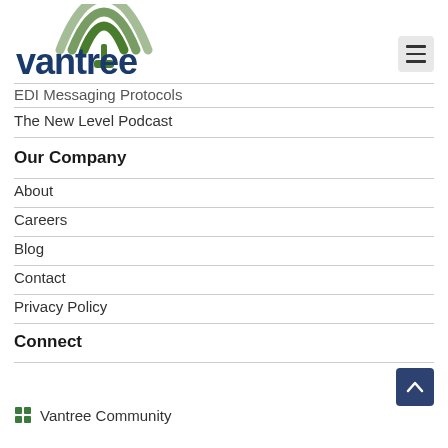[Figure (logo): Vantree logo with green circular signal arc above blue lowercase 'vantree' wordmark]
EDI Messaging Protocols
The New Level Podcast
Our Company
About
Careers
Blog
Contact
Privacy Policy
Connect
Vantree Community